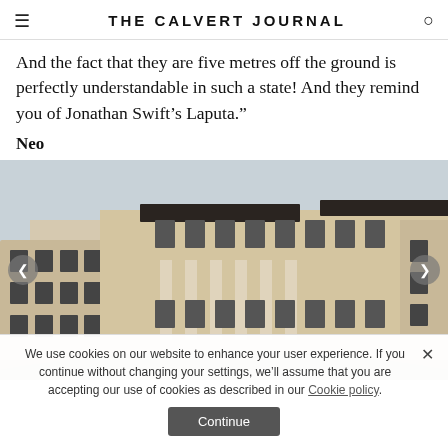THE CALVERT JOURNAL
And the fact that they are five metres off the ground is perfectly understandable in such a state! And they remind you of Jonathan Swift’s Laputa.”
Neo
[Figure (photo): Exterior photograph of a curved neoclassical residential building with multiple floors, balconies, columns, and dark rooflines against a grey sky. Navigation arrows on left and right sides.]
We use cookies on our website to enhance your user experience. If you continue without changing your settings, we’ll assume that you are accepting our use of cookies as described in our Cookie policy.